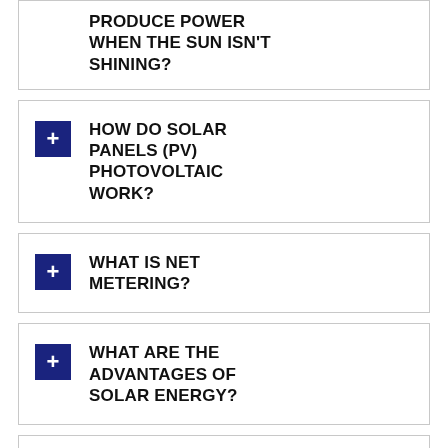PRODUCE POWER WHEN THE SUN ISN'T SHINING?
HOW DO SOLAR PANELS (PV) PHOTOVOLTAIC WORK?
WHAT IS NET METERING?
WHAT ARE THE ADVANTAGES OF SOLAR ENERGY?
WHAT ARE THE